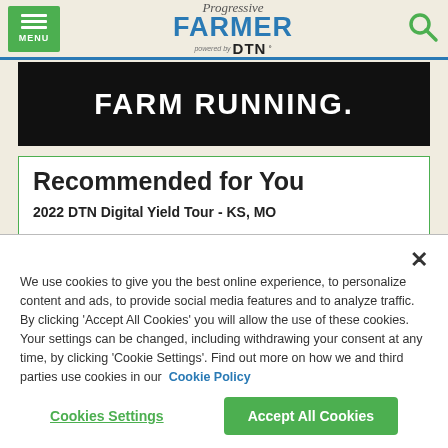Progressive FARMER powered by DTN
[Figure (photo): Dark banner advertisement with bold white text reading 'FARM RUNNING.']
Recommended for You
2022 DTN Digital Yield Tour - KS, MO
We use cookies to give you the best online experience, to personalize content and ads, to provide social media features and to analyze traffic. By clicking 'Accept All Cookies' you will allow the use of these cookies. Your settings can be changed, including withdrawing your consent at any time, by clicking 'Cookie Settings'. Find out more on how we and third parties use cookies in our Cookie Policy
Cookies Settings
Accept All Cookies